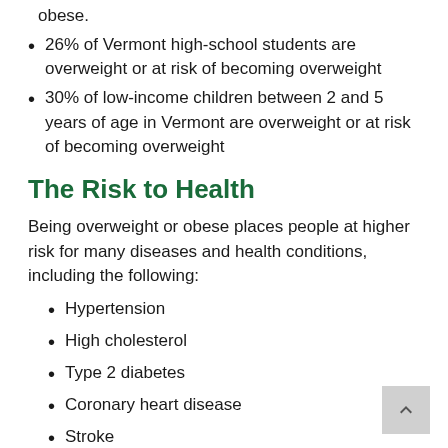obese.
26% of Vermont high-school students are overweight or at risk of becoming overweight
30% of low-income children between 2 and 5 years of age in Vermont are overweight or at risk of becoming overweight
The Risk to Health
Being overweight or obese places people at higher risk for many diseases and health conditions, including the following:
Hypertension
High cholesterol
Type 2 diabetes
Coronary heart disease
Stroke